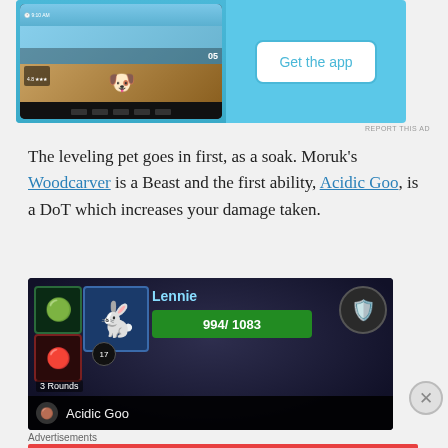[Figure (screenshot): Mobile app advertisement banner with blue background showing phone screenshots and a 'Get the app' button]
The leveling pet goes in first, as a soak. Moruk's Woodcarver is a Beast and the first ability, Acidic Goo, is a DoT which increases your damage taken.
[Figure (screenshot): World of Warcraft pet battle screenshot showing a rabbit named 'Lennie' with 994/1083 HP and Acidic Goo ability listed at the bottom]
Advertisements